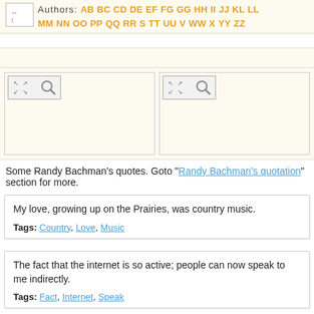Authors: AB BC CD DE EF FG GH HI JJ KL LL MM MN OO PP QQ RR S TT UU V WW X YY ZZ
[Figure (screenshot): Two image placeholder panels with expand/search icons, on cream background]
Some Randy Bachman's quotes. Goto "Randy Bachman's quotation" section for more.
My love, growing up on the Prairies, was country music.
Tags: Country, Love, Music
The fact that the internet is so active; people can now speak to me indirectly.
Tags: Fact, Internet, Speak